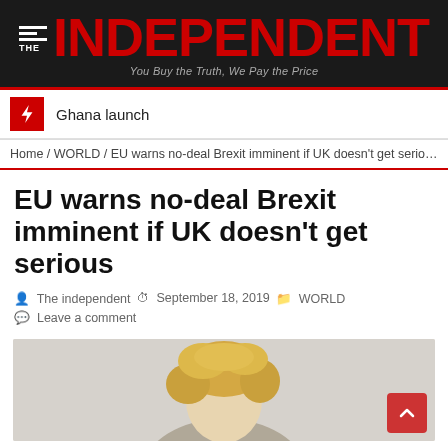[Figure (logo): The Independent newspaper logo on black background with red text and tagline 'You Buy the Truth, We Pay the Price']
Ghana launch
Home / WORLD / EU warns no-deal Brexit imminent if UK doesn't get serious
EU warns no-deal Brexit imminent if UK doesn't get serious
The independent   September 18, 2019   WORLD
Leave a comment
[Figure (photo): Photo of a blonde person, partially visible from shoulders up, against a light grey background]